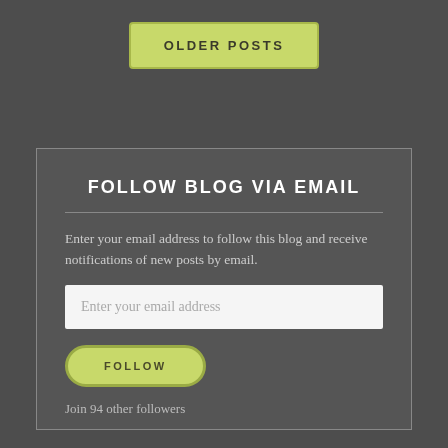OLDER POSTS
FOLLOW BLOG VIA EMAIL
Enter your email address to follow this blog and receive notifications of new posts by email.
Enter your email address
FOLLOW
Join 94 other followers